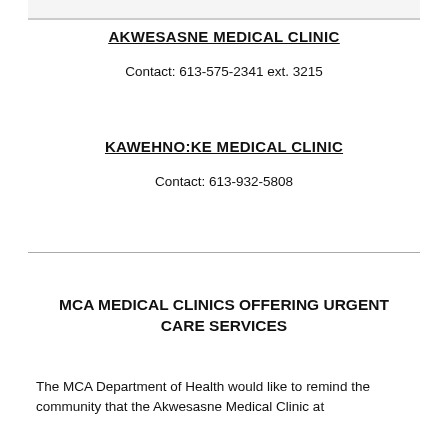AKWESASNE MEDICAL CLINIC
Contact: 613-575-2341 ext. 3215
KAWEHNO:KE MEDICAL CLINIC
Contact: 613-932-5808
MCA MEDICAL CLINICS OFFERING URGENT CARE SERVICES
The MCA Department of Health would like to remind the community that the Akwesasne Medical Clinic at